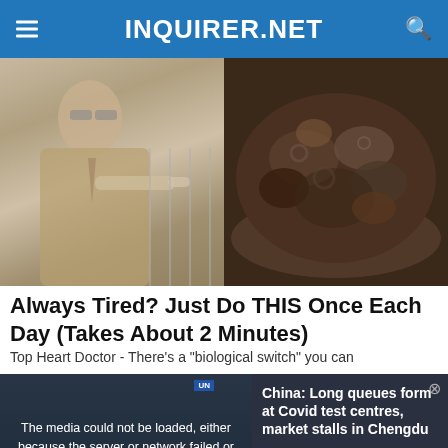INQUIRER.NET
[Figure (photo): Split image: left side shows a man in a suit pointing to the right, right side shows a dark bowl of food close-up]
Always Tired? Just Do THIS Once Each Day (Takes About 2 Minutes)
Top Heart Doctor - There’s a “biological switch” you can
[Figure (screenshot): Video player overlay showing error message: 'The media could not be loaded, either because the server or network failed or because the format is not supported.' with thumbnail of China: Long queues form at Covid test centres, market stalls in Chengdu news story]
China: Long queues form at Covid test centres, market stalls in Chengdu